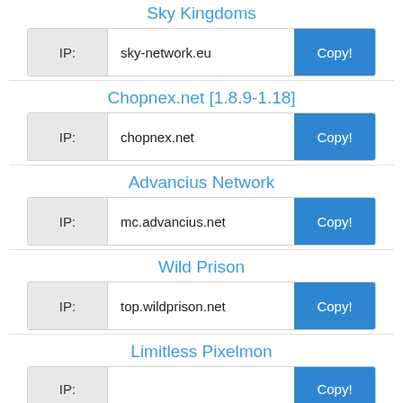Sky Kingdoms
IP: sky-network.eu Copy!
Chopnex.net [1.8.9-1.18]
IP: chopnex.net Copy!
Advancius Network
IP: mc.advancius.net Copy!
Wild Prison
IP: top.wildprison.net Copy!
Limitless Pixelmon
IP: Copy!